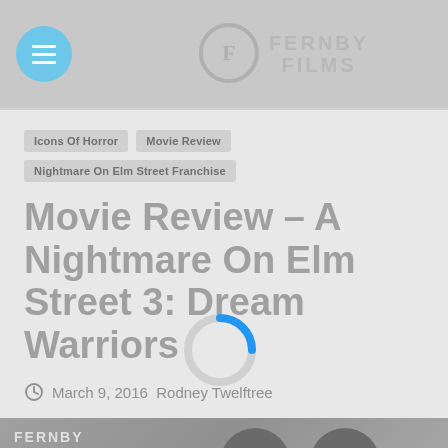Fernby Films
Icons Of Horror
Movie Review
Nightmare On Elm Street Franchise
Movie Review – A Nightmare On Elm Street 3: Dream Warriors
March 9, 2016  Rodney Twelftree
[Figure (photo): Movie promotional image for A Nightmare on Elm Street 3: Dream Warriors, showing Fernby Films Icons of Horror branding with silhouetted figures and eye imagery]